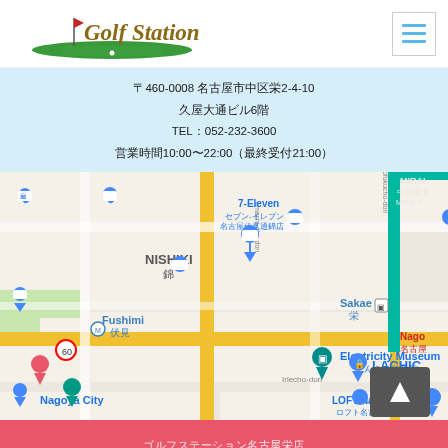[Figure (logo): Golf Station logo with golf flag and green background]
〒460-0008 名古屋市中区栄2-4-10
久屋大通ビル6階
TEL：052-232-3600
営業時間10:00〜22:00（最終受付21:00）
[Figure (map): Google Maps screenshot showing Nagoya area around Fushimi, Sakae, Nishiki district with landmarks including 7-Eleven, Electricity Museum, LACHIC, LOFT Nagoya]
ゴルフステーション名古屋栄店